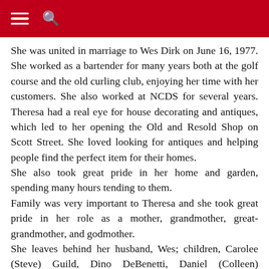[hamburger menu] [search icon]
She was united in marriage to Wes Dirk on June 16, 1977. She worked as a bartender for many years both at the golf course and the old curling club, enjoying her time with her customers. She also worked at NCDS for several years. Theresa had a real eye for house decorating and antiques, which led to her opening the Old and Resold Shop on Scott Street. She loved looking for antiques and helping people find the perfect item for their homes.
She also took great pride in her home and garden, spending many hours tending to them.
Family was very important to Theresa and she took great pride in her role as a mother, grandmother, great-grandmother, and godmother.
She leaves behind her husband, Wes; children, Carolee (Steve) Guild, Dino DeBenetti, Daniel (Colleen) DeBenetti, Allison DeBenetti, Ted DeBenetti, and Kathleen DeBenetti (Denise); grandchildren, Justin (Claudine) Guild, Taralee (Angie) Guild, Ryan (Analia) DeBenetti, Sonia (Josh) DeBenetti-Carlisle, Jackson DeBenetti, Caitlyn Hogan (Josh Scott), Caym DeBenetti